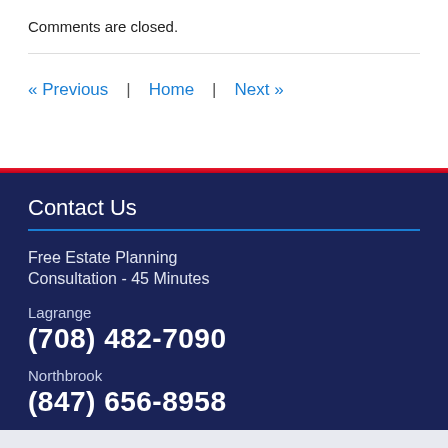Comments are closed.
« Previous  |  Home  |  Next »
Contact Us
Free Estate Planning Consultation - 45 Minutes
Lagrange
(708) 482-7090
Northbrook
(847) 656-8958